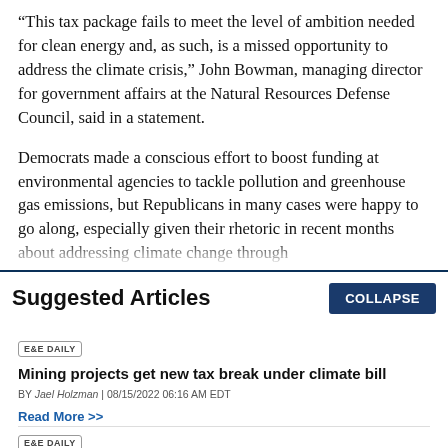"This tax package fails to meet the level of ambition needed for clean energy and, as such, is a missed opportunity to address the climate crisis," John Bowman, managing director for government affairs at the Natural Resources Defense Council, said in a statement.
Democrats made a conscious effort to boost funding at environmental agencies to tackle pollution and greenhouse gas emissions, but Republicans in many cases were happy to go along, especially given their rhetoric in recent months about addressing climate change through
Suggested Articles
E&E DAILY
Mining projects get new tax break under climate bill
BY Jael Holzman | 08/15/2022 06:16 AM EDT
Read More >>
E&E DAILY
'A lot more to do': Lawmakers eye additional climate action